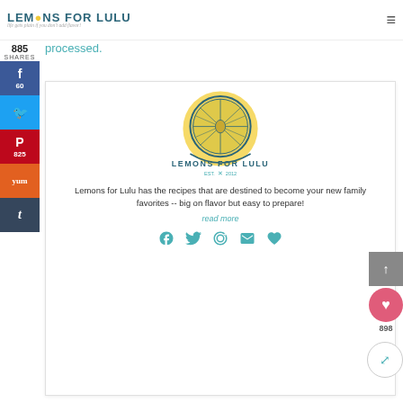LEMONS FOR LULU — life gets plain if you don't add flavor!
processed.
885 SHARES
[Figure (logo): Lemons for Lulu logo with lemon slice illustration, text LEMONS FOR LULU, EST. 2012]
Lemons for Lulu has the recipes that are destined to become your new family favorites -- big on flavor but easy to prepare!
read more